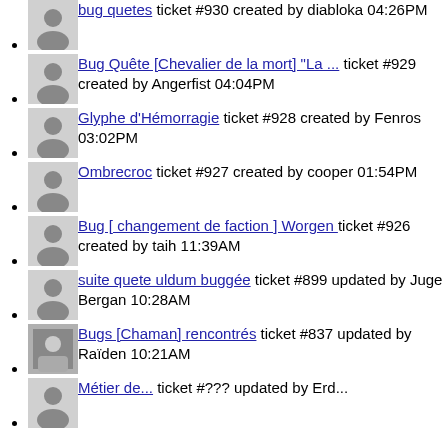bug quetes ticket #930 created by diabloka 04:26PM
Bug Quête [Chevalier de la mort] "La ..." ticket #929 created by Angerfist 04:04PM
Glyphe d'Hémorragie ticket #928 created by Fenros 03:02PM
Ombrecroc ticket #927 created by cooper 01:54PM
Bug [ changement de faction ] Worgen ticket #926 created by taih 11:39AM
suite quete uldum buggée ticket #899 updated by Juge Bergan 10:28AM
Bugs [Chaman] rencontrés ticket #837 updated by Raïden 10:21AM
Métier de... ticket #??? updated by Erd... (partial)